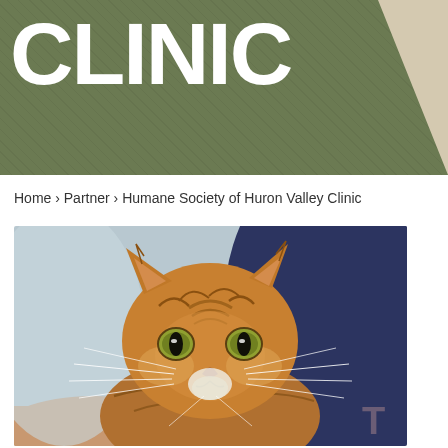CLINIC
Home › Partner › Humane Society of Huron Valley Clinic
[Figure (photo): Close-up photo of a Bengal or tabby cat with golden-brown striped fur, bright green-yellow eyes, and white whiskers, being held by a person in a dark blue top. The cat is looking upward slightly. A faint watermark letter 'T' appears in the lower right corner.]